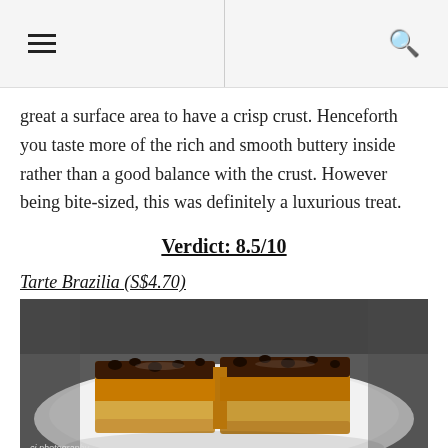☰ [menu icon] | 🔍 [search icon]
great a surface area to have a crisp crust. Henceforth you taste more of the rich and smooth buttery inside rather than a good balance with the crust. However being bite-sized, this was definitely a luxurious treat.
Verdict: 8.5/10
Tarte Brazilia (S$4.70)
[Figure (photo): A chocolate tart (Tarte Brazilia) cut open on a white plate, showing layers of pastry crust, caramel/cream filling, and dark chocolate ganache topping with chocolate chips. Watermark: cj photography]